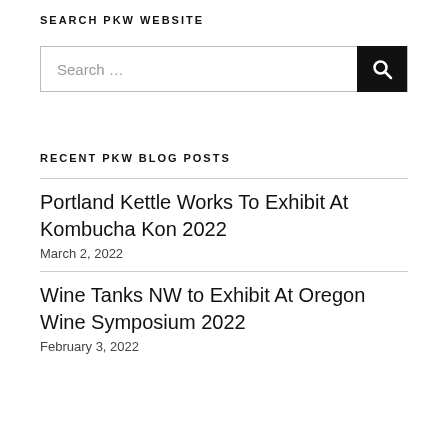SEARCH PKW WEBSITE
[Figure (other): Search input box with text 'Search ...' and a black search button with magnifying glass icon]
RECENT PKW BLOG POSTS
Portland Kettle Works To Exhibit At Kombucha Kon 2022
March 2, 2022
Wine Tanks NW to Exhibit At Oregon Wine Symposium 2022
February 3, 2022